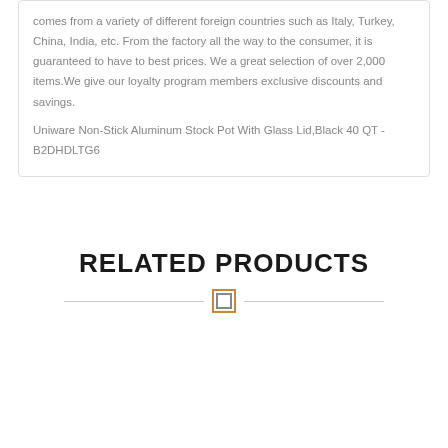comes from a variety of different foreign countries such as Italy, Turkey, China, India, etc. From the factory all the way to the consumer, it is guaranteed to have to best prices. We a great selection of over 2,000 items.We give our loyalty program members exclusive discounts and savings.
Uniware Non-Stick Aluminum Stock Pot With Glass Lid,Black 40 QT - B2DHDLTG6
RELATED PRODUCTS